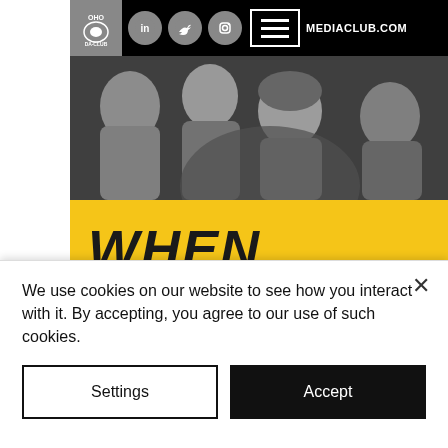[Figure (screenshot): Website screenshot showing a navigation bar with logo, social media icons (LinkedIn, Twitter, Instagram), hamburger menu, and domain text. Below is a black-and-white photo of people at a meetup event. Below the photo is a yellow section with bold italic text 'WHEN' and 'MEETUPS' in large black uppercase letters.]
WHEN MEETUPS
We use cookies on our website to see how you interact with it. By accepting, you agree to our use of such cookies.